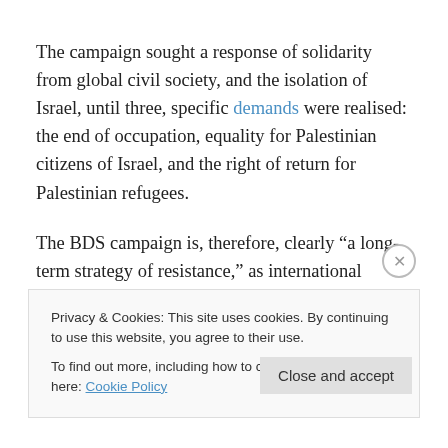The campaign sought a response of solidarity from global civil society, and the isolation of Israel, until three, specific demands were realised: the end of occupation, equality for Palestinian citizens of Israel, and the right of return for Palestinian refugees.
The BDS campaign is, therefore, clearly “a long-term strategy of resistance,” as international relations scholar Cherine Hussein described it in her 2015 book. It follows that a credible assessment of its achievements to
Privacy & Cookies: This site uses cookies. By continuing to use this website, you agree to their use.
To find out more, including how to control cookies, see here: Cookie Policy